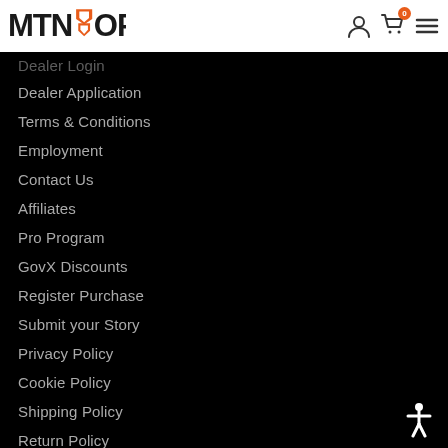[Figure (logo): MTN OPS logo with orange chevron/shield emblem in white navigation bar]
Dealer Login
Dealer Application
Terms & Conditions
Employment
Contact Us
Affiliates
Pro Program
GovX Discounts
Register Purchase
Submit your Story
Privacy Policy
Cookie Policy
Shipping Policy
Return Policy